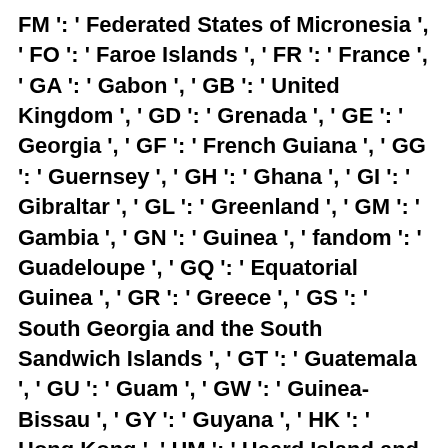FM ': ' Federated States of Micronesia ', ' FO ': ' Faroe Islands ', ' FR ': ' France ', ' GA ': ' Gabon ', ' GB ': ' United Kingdom ', ' GD ': ' Grenada ', ' GE ': ' Georgia ', ' GF ': ' French Guiana ', ' GG ': ' Guernsey ', ' GH ': ' Ghana ', ' GI ': ' Gibraltar ', ' GL ': ' Greenland ', ' GM ': ' Gambia ', ' GN ': ' Guinea ', ' fandom ': ' Guadeloupe ', ' GQ ': ' Equatorial Guinea ', ' GR ': ' Greece ', ' GS ': ' South Georgia and the South Sandwich Islands ', ' GT ': ' Guatemala ', ' GU ': ' Guam ', ' GW ': ' Guinea-Bissau ', ' GY ': ' Guyana ', ' HK ': ' Hong Kong ', ' HM ': ' Heard Island and McDonald Islands ', ' HN